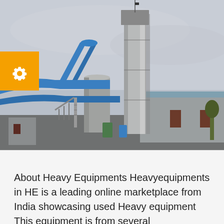[Figure (photo): Industrial facility with large blue pipes, cylindrical metal tanks and towers, a tall silver column, and a low grey building. Overcast sky background. An orange badge with a gear/settings icon overlays the left side of the image.]
About Heavy Equipments Heavyequipments in HE is a leading online marketplace from India showcasing used Heavy equipment This equipment is from several